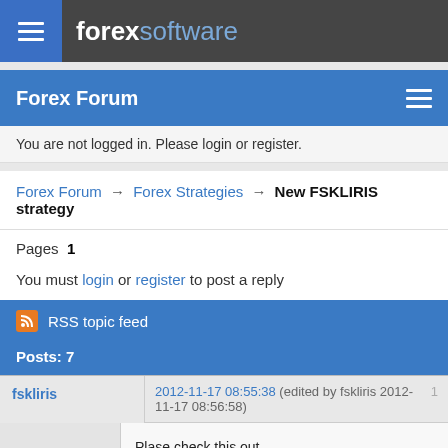forex software
Forex Forum
You are not logged in. Please login or register.
Forex Forum → Forex Strategies → New FSKLIRIS strategy
Pages  1
You must login or register to post a reply
RSS topic feed
Posts: 7
fskliris
2012-11-17 08:55:38 (edited by fskliris 2012-11-17 08:56:58)  1
Plase check this out
Strategy name: FSKLIRIS
Forex Strategy Builder v2.64.0.0
Exported on: 17/11/2012 9:56:22 πμ